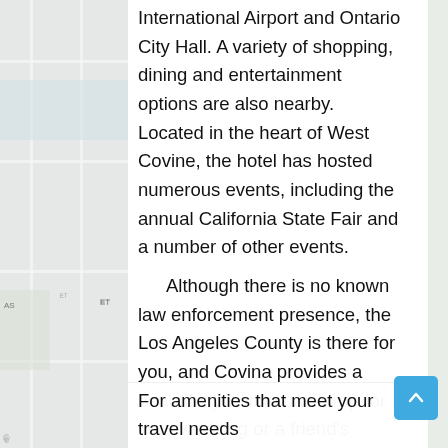International Airport and Ontario City Hall. A variety of shopping, dining and entertainment options are also nearby. Located in the heart of West Covine, the hotel has hosted numerous events, including the annual California State Fair and a number of other events.

Although there is no known law enforcement presence, the Los Angeles County is there for you, and Covina provides a beautifully visible backdrop for your wedding or a friend's wedding.

For amenities that meet your travel needs
[Figure (map): Background map showing streets and neighborhoods in the West Covina / Los Angeles County area]